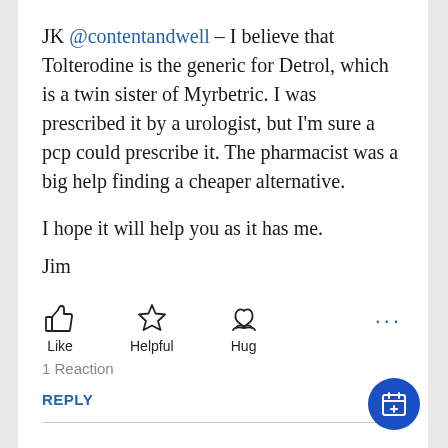JK @contentandwell – I believe that Tolterodine is the generic for Detrol, which is a twin sister of Myrbetric. I was prescribed it by a urologist, but I'm sure a pcp could prescribe it. The pharmacist was a big help finding a cheaper alternative.
I hope it will help you as it has me.
Jim
[Figure (infographic): Three reaction buttons: Like (thumbs up icon), Helpful (star icon), Hug (hands with heart icon), and a three-dot menu on the right]
1 Reaction
REPLY
[Figure (infographic): Blue circular floating action button with a calendar/add icon]